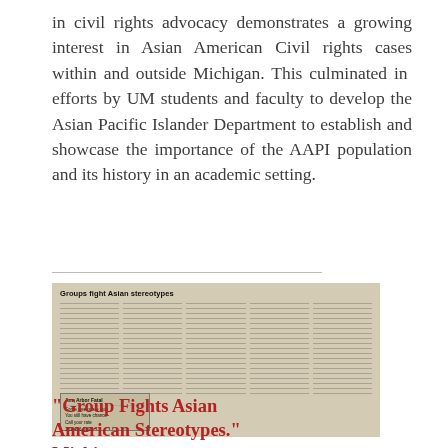in civil rights advocacy demonstrates a growing interest in Asian American Civil rights cases within and outside Michigan. This culminated in efforts by UM students and faculty to develop the Asian Pacific Islander Department to establish and showcase the importance of the AAPI population and its history in an academic setting.
[Figure (photo): A scanned newspaper clipping with the headline 'Groups fight Asian stereotypes' showing multiple columns of text and a small box/advertisement in the lower left corner.]
"Group Fights Asian American Stereotypes." Michigan